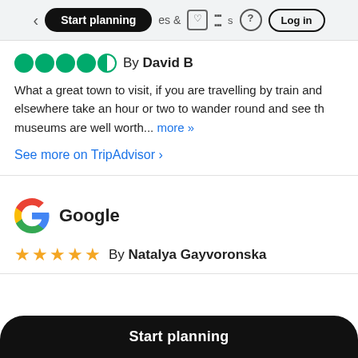Start planning | & activities | ? | Log in
By David B
What a great town to visit, if you are travelling by train and elsewhere take an hour or two to wander round and see th museums are well worth... more »
See more on TripAdvisor ›
[Figure (logo): Google logo with colorful G]
Google
By Natalya Gayvoronska
Start planning